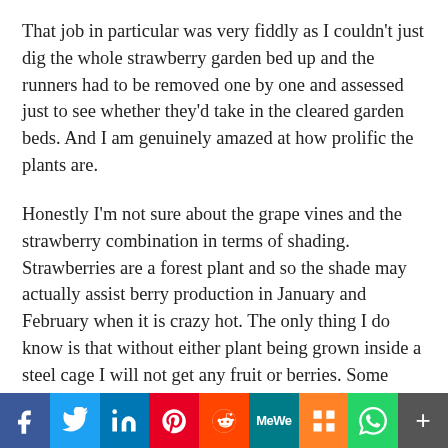That job in particular was very fiddly as I couldn't just dig the whole strawberry garden bed up and the runners had to be removed one by one and assessed just to see whether they'd take in the cleared garden beds. And I am genuinely amazed at how prolific the plants are.
Honestly I'm not sure about the grape vines and the strawberry combination in terms of shading. Strawberries are a forest plant and so the shade may actually assist berry production in January and February when it is crazy hot. The only thing I do know is that without either plant being grown inside a steel cage I will not get any fruit or berries. Some crops are like that.
How cool are the windows. Can you believe
[Figure (infographic): Social media sharing bar with icons: Facebook (f, blue), Twitter (bird, light blue), LinkedIn (in, dark blue), Pinterest (P, red), Reddit (alien, orange-red), MeWe (MW, teal), Mix (m, orange), WhatsApp (phone, green), More (+, grey)]